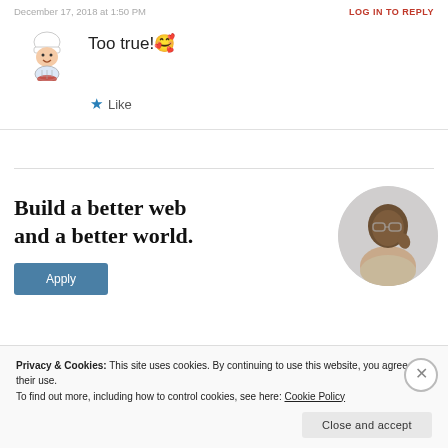December 17, 2018 at 1:50 PM
LOG IN TO REPLY
Too true!🥰
★ Like
[Figure (illustration): Cartoon chef/cook avatar illustration]
[Figure (photo): Circular photo of a man looking upward thoughtfully, wearing a beige shirt]
Build a better web and a better world.
Apply
Privacy & Cookies: This site uses cookies. By continuing to use this website, you agree to their use.
To find out more, including how to control cookies, see here: Cookie Policy
Close and accept